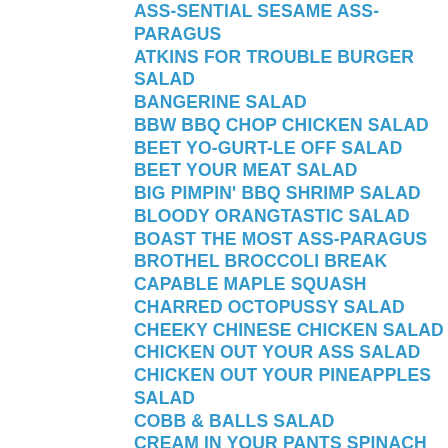ASS-SENTIAL SESAME ASS-PARAGUS
ATKINS FOR TROUBLE BURGER SALAD
BANGERINE SALAD
BBW BBQ CHOP CHICKEN SALAD
BEET YO-GURT-LE OFF SALAD
BEET YOUR MEAT SALAD
BIG PIMPIN' BBQ SHRIMP SALAD
BLOODY ORANGTASTIC SALAD
BOAST THE MOST ASS-PARAGUS
BROTHEL BROCCOLI BREAK
CAPABLE MAPLE SQUASH
CHARRED OCTOPUSSY SALAD
CHEEKY CHINESE CHICKEN SALAD
CHICKEN OUT YOUR ASS SALAD
CHICKEN OUT YOUR PINEAPPLES SALAD
COBB & BALLS SALAD
CREAM IN YOUR PANTS SPINACH
CREAM IN YOUR PATCHWORK PANTS SPINACH
DON'T ARTICHOKE YOUR CHICKEN
DON'T BE COY, BOK CHOY!